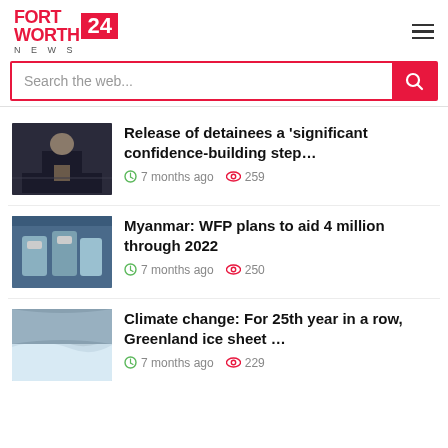FORT WORTH 24 NEWS
Search the web...
[Figure (photo): News thumbnail: man in suit speaking at podium]
Release of detainees a ‘significant confidence-building step…
7 months ago  259
[Figure (photo): News thumbnail: people in masks carrying supplies]
Myanmar: WFP plans to aid 4 million through 2022
7 months ago  250
[Figure (photo): News thumbnail: Greenland ice sheet aerial view]
Climate change: For 25th year in a row, Greenland ice sheet …
7 months ago  229